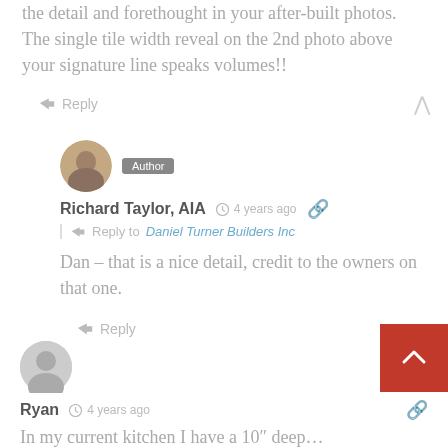the detail and forethought in your after-built photos. The single tile width reveal on the 2nd photo above your signature line speaks volumes!!
Reply
Author
Richard Taylor, AIA   4 years ago
Reply to Daniel Turner Builders Inc
Dan – that is a nice detail, credit to the owners on that one.
Reply
Ryan   4 years ago
In my current kitchen I have a 10" deep…